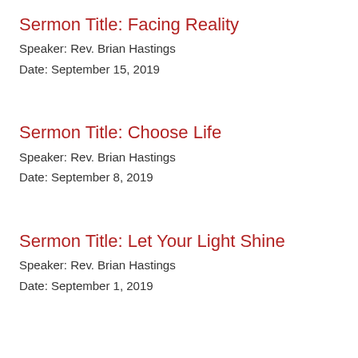Sermon Title: Facing Reality
Speaker: Rev. Brian Hastings
Date: September 15, 2019
Sermon Title: Choose Life
Speaker: Rev. Brian Hastings
Date: September 8, 2019
Sermon Title: Let Your Light Shine
Speaker: Rev. Brian Hastings
Date: September 1, 2019